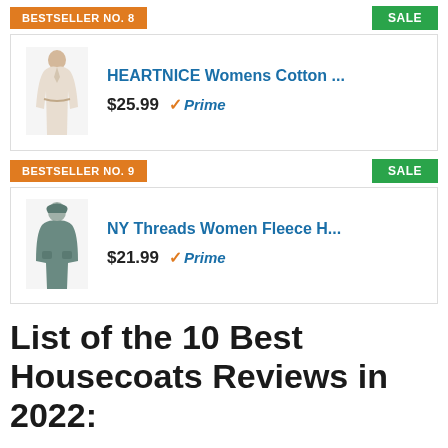BESTSELLER NO. 8
SALE
[Figure (photo): Product photo of a woman wearing a cotton robe]
HEARTNICE Womens Cotton ...
$25.99  Prime
BESTSELLER NO. 9
SALE
[Figure (photo): Product photo of a woman wearing a fleece hoodie robe]
NY Threads Women Fleece H...
$21.99  Prime
List of the 10 Best Housecoats Reviews in 2022:
#10 Dreamcrest